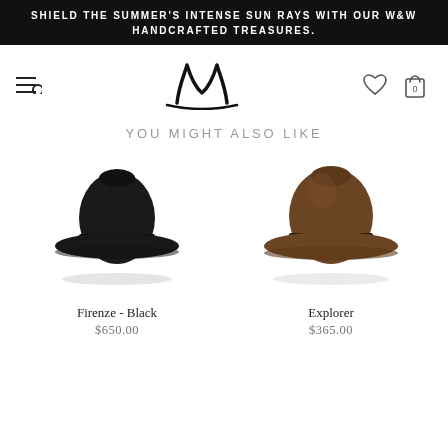SHIELD THE SUMMER'S INTENSE SUN RAYS WITH OUR W&W HANDCRAFTED TREASURES.
[Figure (logo): W&W brand logo — stylized letter M in handwritten brush style]
YOU MIGHT ALSO LIKE
[Figure (photo): Black fedora hat — Firenze Black model]
Firenze - Black
$650.00
[Figure (photo): Brown fedora hat with dark band — Explorer model]
Explorer
$365.00